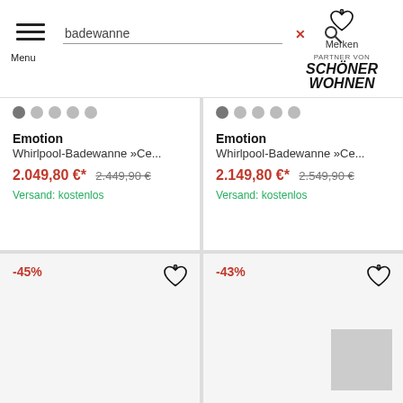badewanne search bar with Menu, search icon, Merken, PARTNER VON SCHÖNER WOHNEN
Emotion
Whirlpool-Badewanne »Ce...
2.049,80 €* 2.449,90 €
Versand: kostenlos
Emotion
Whirlpool-Badewanne »Ce...
2.149,80 €* 2.549,90 €
Versand: kostenlos
-45%
-43%